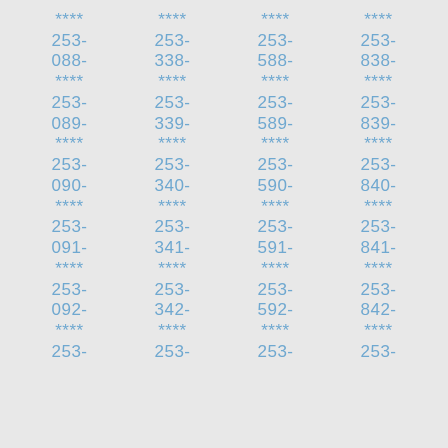****  ****  ****  ****
253-  253-  253-  253-
088-  338-  588-  838-
****  ****  ****  ****
253-  253-  253-  253-
089-  339-  589-  839-
****  ****  ****  ****
253-  253-  253-  253-
090-  340-  590-  840-
****  ****  ****  ****
253-  253-  253-  253-
091-  341-  591-  841-
****  ****  ****  ****
253-  253-  253-  253-
092-  342-  592-  842-
****  ****  ****  ****
253-  253-  253-  253-